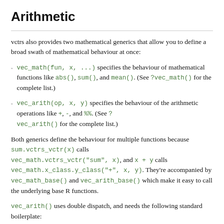Arithmetic
vctrs also provides two mathematical generics that allow you to define a broad swath of mathematical behaviour at once:
vec_math(fun, x, ...) specifies the behaviour of mathematical functions like abs(), sum(), and mean(). (See ?vec_math() for the complete list.)
vec_arith(op, x, y) specifies the behaviour of the arithmetic operations like +, -, and %%. (See ?vec_arith() for the complete list.)
Both generics define the behaviour for multiple functions because sum.vctrs_vctr(x) calls vec_math.vctrs_vctr("sum", x), and x + y calls vec_math.x_class.y_class("+", x, y). They're accompanied by vec_math_base() and vec_arith_base() which make it easy to call the underlying base R functions.
vec_arith() uses double dispatch, and needs the following standard boilerplate:
[Figure (screenshot): Code block showing: vec_arith.MYCLASS <- function(op, x, y) { UseMethod("vec_arith.MYCLASS", y)]